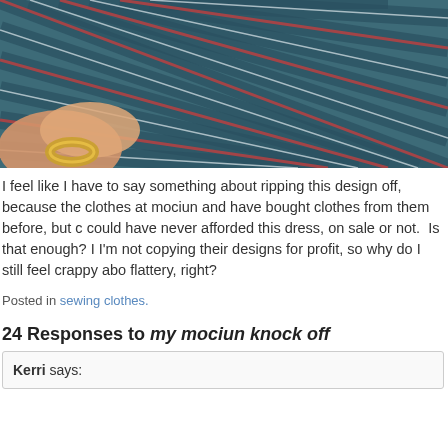[Figure (photo): Close-up photo of a hand holding plaid/tartan fabric with teal, red, and white grid pattern]
I feel like I have to say something about ripping this design off, because the clothes at mociun and have bought clothes from them before, but could have never afforded this dress, on sale or not. Is that enough? I'm not copying their designs for profit, so why do I still feel crappy about flattery, right?
Posted in sewing clothes.
24 Responses to my mociun knock off
Kerri says: